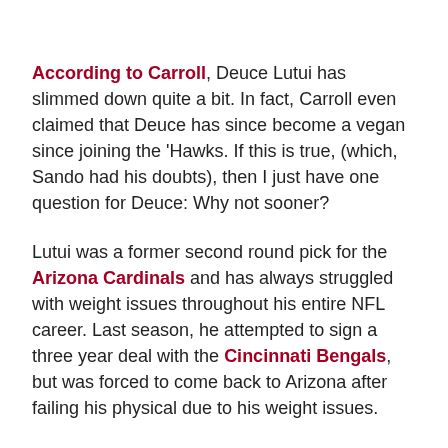According to Carroll, Deuce Lutui has slimmed down quite a bit. In fact, Carroll even claimed that Deuce has since become a vegan since joining the 'Hawks. If this is true, (which, Sando had his doubts), then I just have one question for Deuce: Why not sooner?
Lutui was a former second round pick for the Arizona Cardinals and has always struggled with weight issues throughout his entire NFL career. Last season, he attempted to sign a three year deal with the Cincinnati Bengals, but was forced to come back to Arizona after failing his physical due to his weight issues.